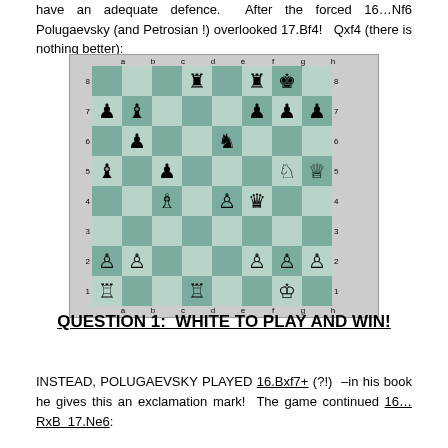have an adequate defence. After the forced 16…Nf6 Polugaevsky (and Petrosian !) overlooked 17.Bf4!  Qxf4 (there is nothing better):
[Figure (other): Chess board diagram showing a mid-game position with pieces on various squares. Board has coordinates a-h (columns) and 1-8 (rows).]
QUESTION 1:  WHITE TO PLAY AND WIN!
INSTEAD, POLUGAEVSKY PLAYED 16.Bxf7+ (?!)  –in his book he gives this an exclamation mark!  The game continued 16…RxB  17.Ne6: